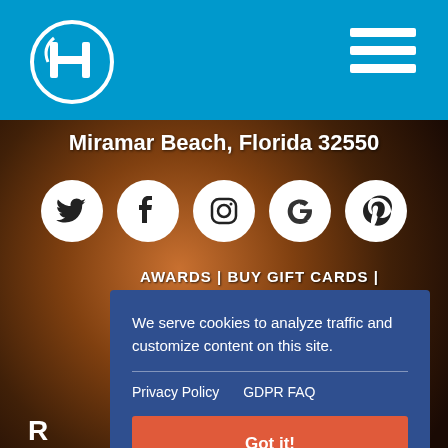[Figure (screenshot): Hilton hotel website screenshot showing aerial view of hotel with pool area, blue header with Hilton logo and hamburger menu, location text, social media icons, and a GDPR cookie consent modal overlay]
Hilton Hotels
Miramar Beach, Florida 32550
AWARDS | BUY GIFT CARDS |
We serve cookies to analyze traffic and customize content on this site.
Privacy Policy   GDPR FAQ
Got it!
R